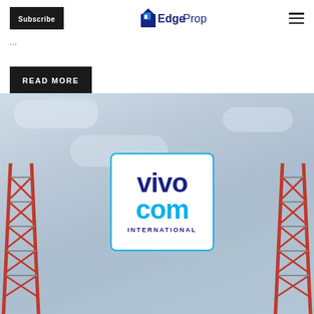Subscribe | EdgeProp
...
READ MORE
[Figure (photo): Vivocom International logo on a sign with telecommunications towers against a cloudy sky background]